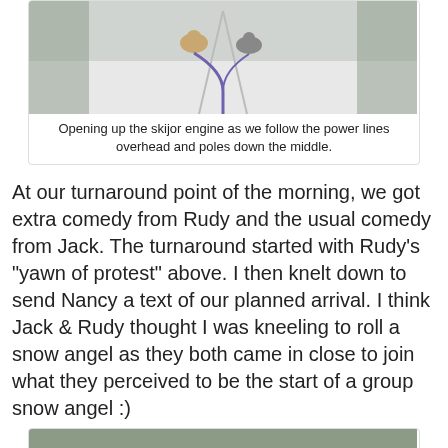[Figure (photo): Two dogs running on a snowy trail beneath power lines, viewed from behind, connected by a purple leash/bungee cord.]
Opening up the skijor engine as we follow the power lines overhead and poles down the middle.
At our turnaround point of the morning, we got extra comedy from Rudy and the usual comedy from Jack. The turnaround started with Rudy's "yawn of protest" above. I then knelt down to send Nancy a text of our planned arrival. I think Jack & Rudy thought I was kneeling to roll a snow angel as they both came in close to join what they perceived to be the start of a group snow angel :)
[Figure (photo): Two dogs lying on their backs in the snow making snow angels, with harnesses and leashes visible, trees in background.]